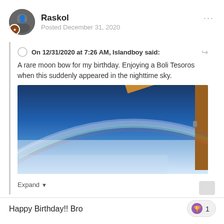Raskol
Posted December 31, 2020
On 12/31/2020 at 7:26 AM, Islandboy said:
A rare moon bow for my birthday. Enjoying a Boli Tesoros when this suddenly appeared in the nighttime sky.
[Figure (photo): Photo of a moonbow arc in the nighttime sky, with wooden roof structure/rafters visible in the upper right corner. Deep blue sky gradient visible.]
Expand
Happy Birthday!! Bro